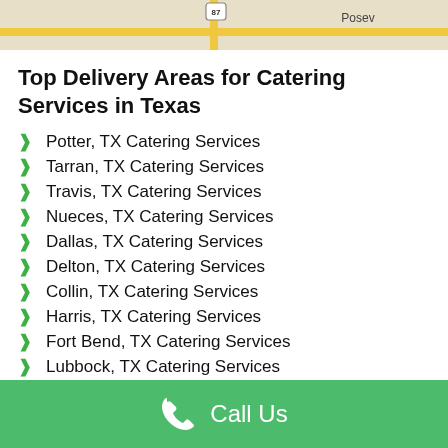[Figure (map): Partial map strip showing road 87 and location label 'Posev']
Top Delivery Areas for Catering Services in Texas
Potter, TX Catering Services
Tarran, TX Catering Services
Travis, TX Catering Services
Nueces, TX Catering Services
Dallas, TX Catering Services
Delton, TX Catering Services
Collin, TX Catering Services
Harris, TX Catering Services
Fort Bend, TX Catering Services
Lubbock, TX Catering Services
El Paso, TX Catering Services
Galveston, TX Catering Services
Call Us